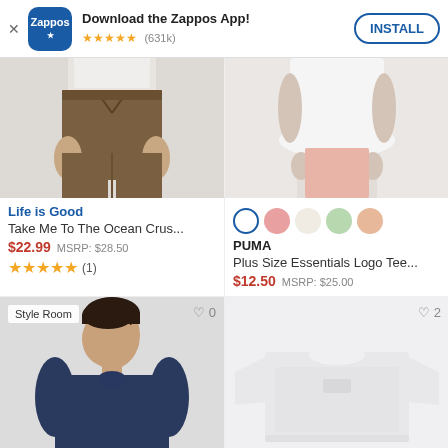[Figure (screenshot): Zappos app install banner with logo, 5-star rating (631k reviews), and INSTALL button]
[Figure (photo): Life is Good product image: brown drawstring pants, torso view]
[Figure (photo): PUMA product image: white peplum top, torso view]
Life is Good
Take Me To The Ocean Crus...
$22.99  MSRP: $28.50
★★★★★ (1)
[Figure (illustration): Color swatches: white/blue selected, pink, cream, light green, peach]
PUMA
Plus Size Essentials Logo Tee...
$12.50  MSRP: $25.00
[Figure (photo): Man in navy t-shirt, head turned to side, Style Room badge, 0 likes]
[Figure (photo): White cropped t-shirt flat lay on light background, 2 likes]